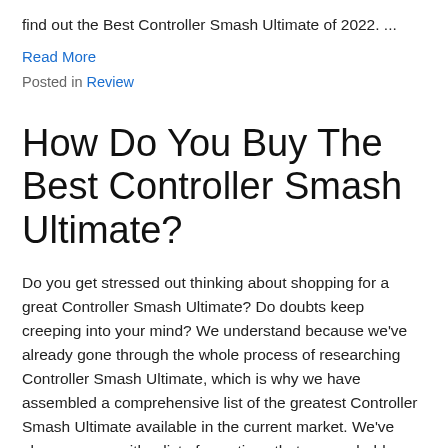find out the Best Controller Smash Ultimate of 2022. ...
Read More
Posted in Review
How Do You Buy The Best Controller Smash Ultimate?
Do you get stressed out thinking about shopping for a great Controller Smash Ultimate? Do doubts keep creeping into your mind? We understand because we've already gone through the whole process of researching Controller Smash Ultimate, which is why we have assembled a comprehensive list of the greatest Controller Smash Ultimate available in the current market. We've also come up with a list of questions that you probably have yourself.